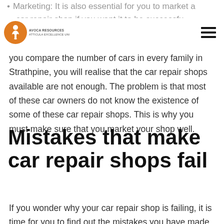Marketing: It is also essential for you to market a car repair shop if you want it to be successful
[Figure (logo): Avoca Resources logo — orange circle with figure icon, text below reading AVOCA RESOURCES]
you compare the number of cars in every family in Strathpine, you will realise that the car repair shops available are not enough. The problem is that most of these car owners do not know the existence of some of these car repair shops. This is why you must make sure that you market your shop well.
Mistakes that make car repair shops fail
If you wonder why your car repair shop is failing, it is time for you to find out the mistakes you have made